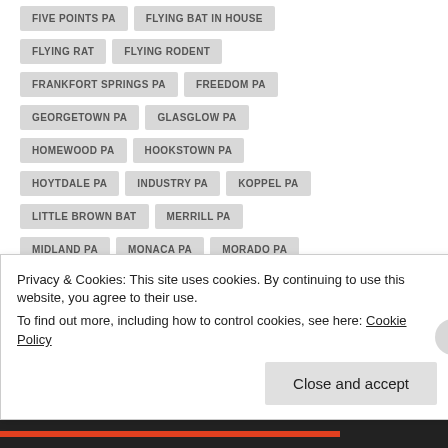FIVE POINTS PA
FLYING BAT IN HOUSE
FLYING RAT
FLYING RODENT
FRANKFORT SPRINGS PA
FREEDOM PA
GEORGETOWN PA
GLASGLOW PA
HOMEWOOD PA
HOOKSTOWN PA
HOYTDALE PA
INDUSTRY PA
KOPPEL PA
LITTLE BROWN BAT
MERRILL PA
MIDLAND PA
MONACA PA
MORADO PA
MOUNT WASHINGTON PA
NEW BRIGHTON PA
NEW GALILEE PA
NORTH ROCHESTER PA
NUISANCE BATS
Privacy & Cookies: This site uses cookies. By continuing to use this website, you agree to their use.
To find out more, including how to control cookies, see here: Cookie Policy
Close and accept